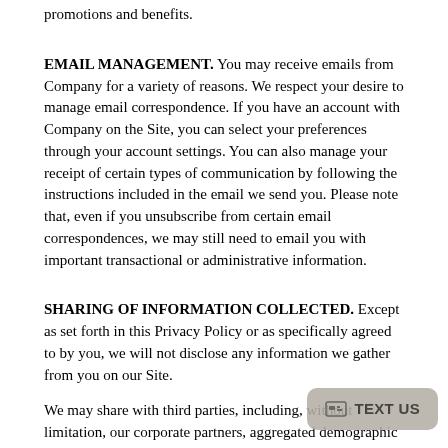promotions and benefits.
EMAIL MANAGEMENT. You may receive emails from Company for a variety of reasons. We respect your desire to manage email correspondence. If you have an account with Company on the Site, you can select your preferences through your account settings. You can also manage your receipt of certain types of communication by following the instructions included in the email we send you. Please note that, even if you unsubscribe from certain email correspondences, we may still need to email you with important transactional or administrative information.
SHARING OF INFORMATION COLLECTED. Except as set forth in this Privacy Policy or as specifically agreed to by you, we will not disclose any information we gather from you on our Site.
We may share with third parties, including, without limitation, our corporate partners, aggregated demographic and statistical information that is not personally identifiable.
Company may also disclose an individual's personal information:
to a person who in the reasonable judgment seeking the information as an agent of the individual: